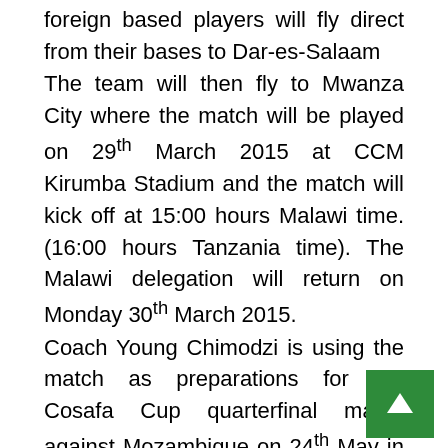foreign based players will fly direct from their bases to Dar-es-Salaam The team will then fly to Mwanza City where the match will be played on 29th March 2015 at CCM Kirumba Stadium and the match will kick off at 15:00 hours Malawi time.(16:00 hours Tanzania time). The Malawi delegation will return on Monday 30th March 2015. Coach Young Chimodzi is using the match as preparations for the Cosafa Cup quarterfinal match against Mozambique on 24th May in South Africa.